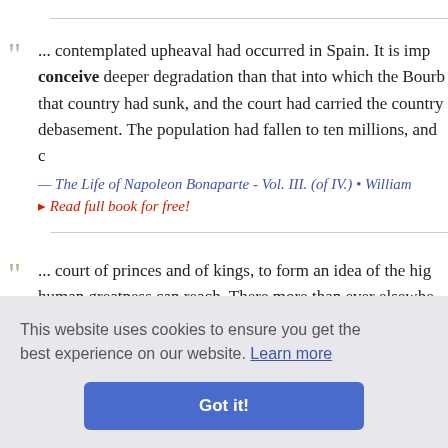... contemplated upheaval had occurred in Spain. It is impossible to conceive deeper degradation than that into which the Bourbon that country had sunk, and the court had carried the country debasement. The population had fallen to ten millions, and d
— The Life of Napoleon Bonaparte - Vol. III. (of IV.) • William
▸ Read full book for free!
... court of princes and of kings, to form an idea of the high human greatness can reach. There more than ever elsewhere affable to all; fortune smiled upon him, and none of those wh the spectacle of his glory could even conceive the thought t manner. I re I heard th ery early h
— nne, Cons
This website uses cookies to ensure you get the best experience on our website. Learn more
Got it!